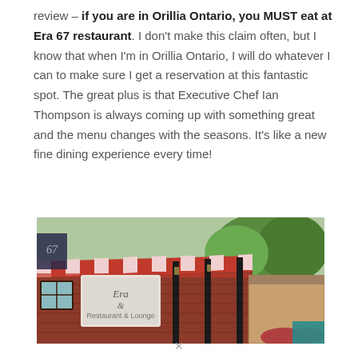review – if you are in Orillia Ontario, you MUST eat at Era 67 restaurant. I don't make this claim often, but I know that when I'm in Orillia Ontario, I will do whatever I can to make sure I get a reservation at this fantastic spot. The great plus is that Executive Chef Ian Thompson is always coming up with something great and the menu changes with the seasons. It's like a new fine dining experience every time!
[Figure (photo): Exterior photo of Era 67 Restaurant & Lounge showing red brick building with red and white striped awning, signage, and trees in background]